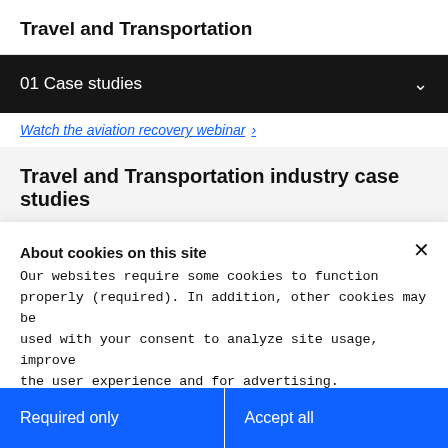Travel and Transportation
01 Case studies
Watch the aviation recovery webinar →
Travel and Transportation industry case studies
About cookies on this site
Our websites require some cookies to function properly (required). In addition, other cookies may be used with your consent to analyze site usage, improve the user experience and for advertising.
For more information, please review your Cookie preferences options and IBM's privacy statement.
Required only
Accept all